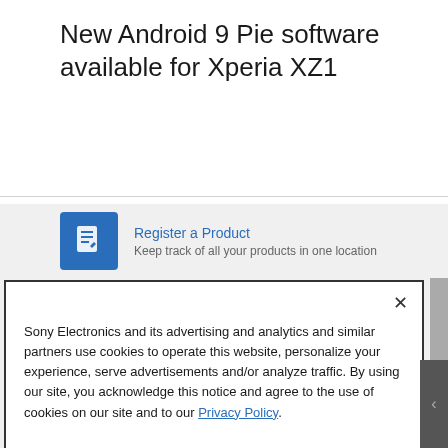New Android 9 Pie software available for Xperia XZ1
Register a Product
Keep track of all your products in one location
Sony Electronics and its advertising and analytics and similar partners use cookies to operate this website, personalize your experience, serve advertisements and/or analyze traffic. By using our site, you acknowledge this notice and agree to the use of cookies on our site and to our Privacy Policy.
Manage Cookies